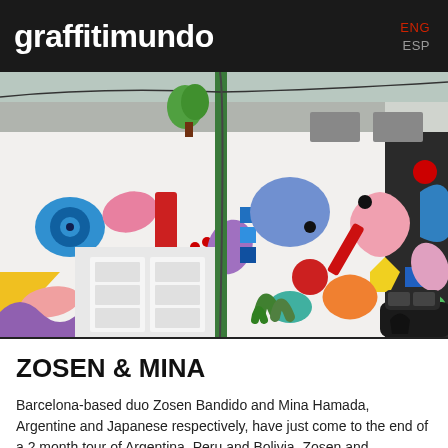graffitimundo | ENG ESP
[Figure (photo): Colorful street mural covering the exterior wall of a building. The mural features abstract shapes in bright colors — blue eye/circle, pink and orange organic forms, green leaf shapes, yellow diamond, red rectangles, and multicolored abstract figures on a white background. A white door is visible in the lower left portion of the building. A green utility pole stands in front of the mural.]
ZOSEN & MINA
Barcelona-based duo Zosen Bandido and Mina Hamada, Argentine and Japanese respectively, have just come to the end of a 2 month tour of Argentina, Peru and Bolivia. Zosen and